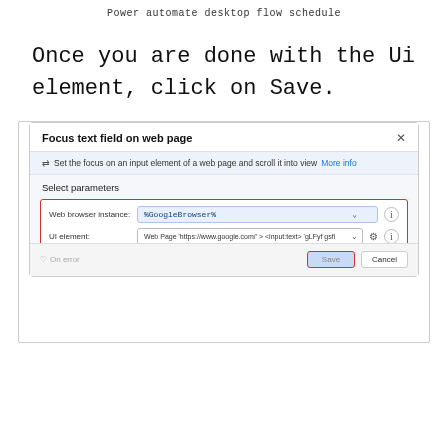Power automate desktop flow schedule
Once you are done with the Ui element, click on Save.
[Figure (screenshot): Screenshot of 'Focus text field on web page' dialog in Power Automate Desktop. Shows a dialog with a red-highlighted section containing 'Web browser instance: %GoogleBrowser%' dropdown and 'UI element: Web Page https://www.google.com/ > <input:text> gLFyf gsfi' dropdown. There is an Advanced section below. At the bottom, Save and Cancel buttons are visible with Save highlighted with a red border.]